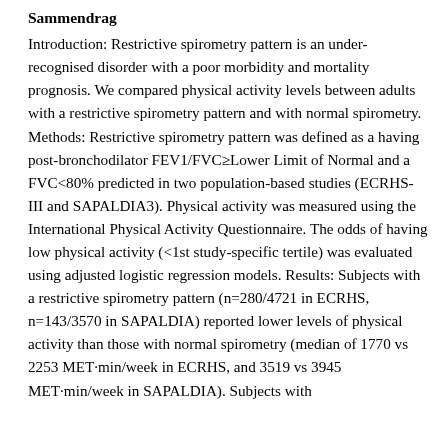Sammendrag
Introduction: Restrictive spirometry pattern is an under-recognised disorder with a poor morbidity and mortality prognosis. We compared physical activity levels between adults with a restrictive spirometry pattern and with normal spirometry. Methods: Restrictive spirometry pattern was defined as a having post-bronchodilator FEV1/FVC≥Lower Limit of Normal and a FVC<80% predicted in two population-based studies (ECRHS-III and SAPALDIA3). Physical activity was measured using the International Physical Activity Questionnaire. The odds of having low physical activity (<1st study-specific tertile) was evaluated using adjusted logistic regression models. Results: Subjects with a restrictive spirometry pattern (n=280/4721 in ECRHS, n=143/3570 in SAPALDIA) reported lower levels of physical activity than those with normal spirometry (median of 1770 vs 2253 MET·min/week in ECRHS, and 3519 vs 3945 MET·min/week in SAPALDIA). Subjects with